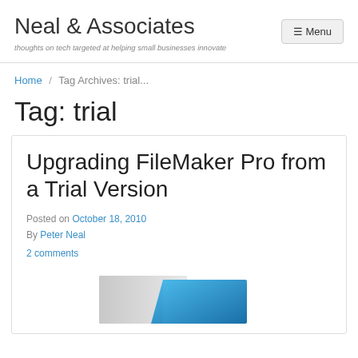Neal & Associates
thoughts on tech targeted at helping small businesses innovate
Home / Tag Archives: trial...
Tag: trial
Upgrading FileMaker Pro from a Trial Version
Posted on October 18, 2010
By Peter Neal
2 comments
[Figure (photo): Partial image of FileMaker Pro box/packaging visible at bottom of page]